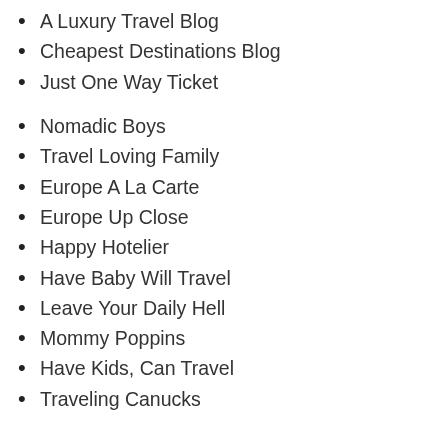A Luxury Travel Blog
Cheapest Destinations Blog
Just One Way Ticket
Nomadic Boys
Travel Loving Family
Europe A La Carte
Europe Up Close
Happy Hotelier
Have Baby Will Travel
Leave Your Daily Hell
Mommy Poppins
Have Kids, Can Travel
Traveling Canucks